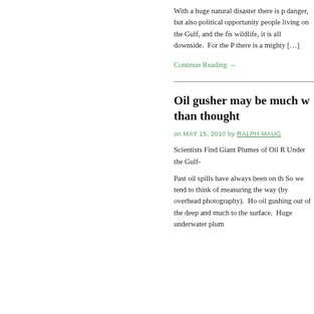With a huge natural disaster there is p danger, but also political opportunity people living on the Gulf, and the fis wildlife, it is all downside.  For the P there is a mighty […]
Continue Reading →
Oil gusher may be much w than thought
on MAY 15, 2010 by RALPH MAUG
Scientists Find Giant Plumes of Oil R Under the Gulf-
Past oil spills have always been on th So we tend to think of measuring the way (by overhead photography).  Ho oil gushing out of the deep and much to the surface.  Huge underwater plum […]